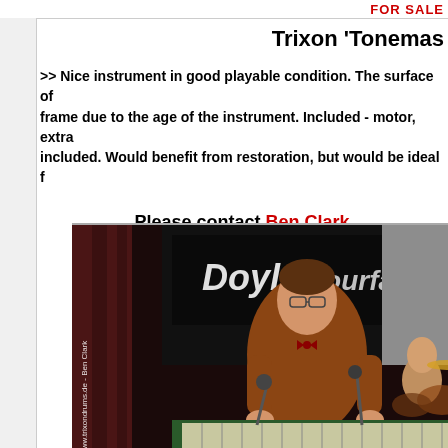FOR SALE
Trixon 'Tonemas...
>> Nice instrument in good playable condition. The surface of frame due to the age of the instrument. Included - motor, extra included. Would benefit from restoration, but would be ideal f...
Please contact Ben Clark
[Figure (photo): A young man wearing glasses and a bow tie plays a vibraphone/xylophone on stage. In the background is a banner reading 'Doyle Fourfathers'. A drummer is visible in the background. Watermark text reads 'www.trixondrums.de - Ben Clark'.]